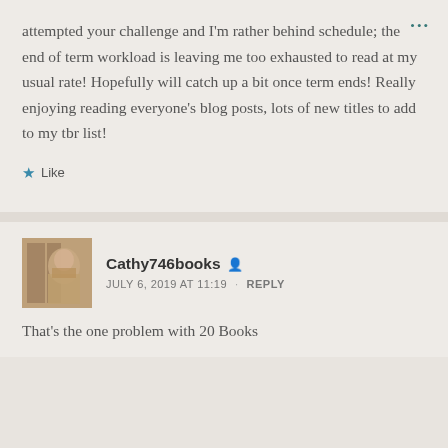attempted your challenge and I'm rather behind schedule; the end of term workload is leaving me too exhausted to read at my usual rate! Hopefully will catch up a bit once term ends! Really enjoying reading everyone's blog posts, lots of new titles to add to my tbr list!
Like
Cathy746books
JULY 6, 2019 AT 11:19 · REPLY
That's the one problem with 20 Books